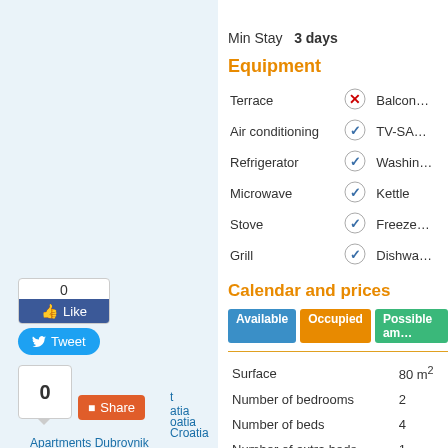Min Stay  3 days
Equipment
| Item | Status | Item2 |
| --- | --- | --- |
| Terrace | ✗ | Balcon… |
| Air conditioning | ✓ | TV-SA… |
| Refrigerator | ✓ | Washin… |
| Microwave | ✓ | Kettle |
| Stove | ✓ | Freeze… |
| Grill | ✓ | Dishwa… |
Calendar and prices
Available  Occupied  Possible am…
| Property | Value |
| --- | --- |
| Surface | 80 m² |
| Number of bedrooms | 2 |
| Number of beds | 4 |
| Number of extra beds | 1 |
"A 4+1" -
0 Like
Tweet
0 Share
atia
oatia
Croatia
Apartments Dubrovnik
Apartments Omiš
Apartments Trogir